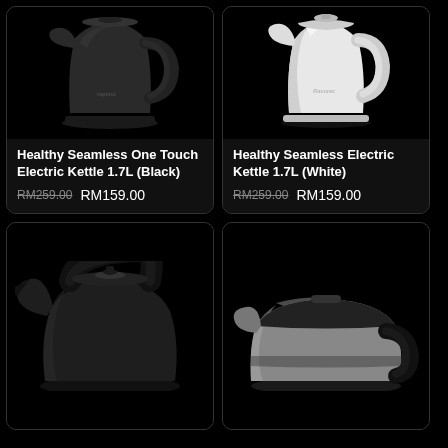[Figure (photo): Black electric kettle 1.7L on black background]
Healthy Seamless One Touch Electric Kettle 1.7L (Black)
RM259.00  RM159.00
[Figure (photo): White electric kettle 1.7L on black background]
Healthy Seamless Electric Kettle 1.7L (White)
RM259.00  RM159.00
[Figure (photo): Black stovetop kettle (partially cropped) on black background]
[Figure (photo): Stainless steel electric kettle (partially cropped) on black background]